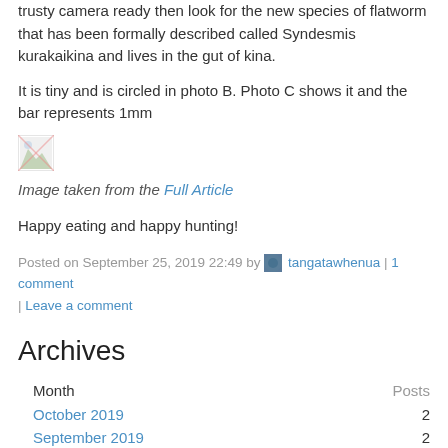trusty camera ready then look for the new species of flatworm that has been formally described called Syndesmis kurakaikina and lives in the gut of kina.
It is tiny and is circled in photo B. Photo C shows it and the bar represents 1mm
[Figure (photo): Broken image placeholder icon]
Image taken from the Full Article
Happy eating and happy hunting!
Posted on September 25, 2019 22:49 by tangatawhenua | 1 comment | Leave a comment
Archives
| Month | Posts |
| --- | --- |
| October 2019 | 2 |
| September 2019 | 2 |
| February 2019 | 2 |
| January 2019 | 1 |
| August 2018 | 2 |
| July 2018 | 2 |